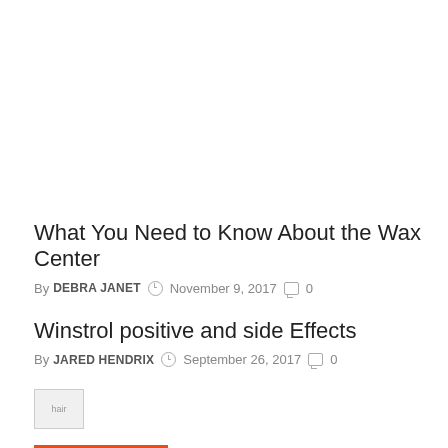What You Need to Know About the Wax Center
By DEBRA JANET  November 9, 2017  0
Winstrol positive and side Effects
By JARED HENDRIX  September 26, 2017  0
[Figure (photo): Small thumbnail image labeled 'hair']
HEALTH & BEAUTY